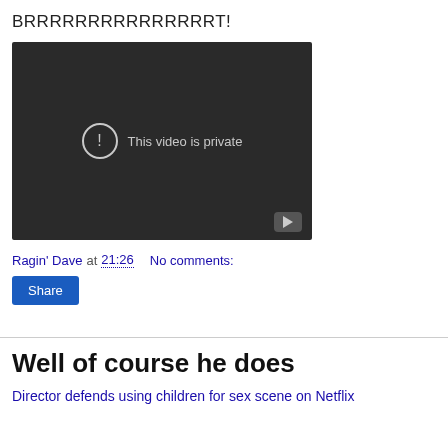BRRRRRRRRRRRRRRRT!
[Figure (screenshot): Embedded YouTube video player showing 'This video is private' message with a circle exclamation icon and YouTube logo button in the bottom right corner. Background is dark/black.]
Ragin' Dave at 21:26    No comments:
Share
Well of course he does
Director defends using children for sex scene on Netflix